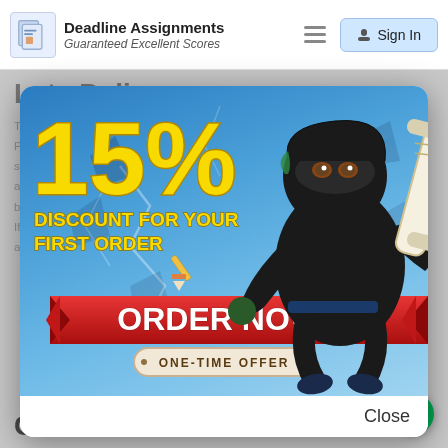Deadline Assignments – Guaranteed Excellent Scores | Sign In
Late Policy
The university assignment submission late points policy... Please... to submit...  with advance... Extension based...
[Figure (illustration): Promotional popup modal showing a ninja character holding a rolled diploma, with large yellow '15% DISCOUNT FOR YOUR FIRST ORDER' text, a red 'ORDER NOW!' button, and 'ONE-TIME OFFER' badge on a blue cracked-wall background. A 'Close' button appears at the bottom right of the modal.]
does not accept assignments that are two or more weeks late unless we have worked out an extension
class will not be accepted for grading.
Communication